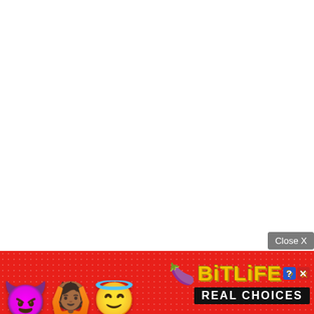Close X
[Figure (illustration): BitLife mobile game advertisement banner with red dotted background, showing devil emoji, person with raised hands emoji, angel emoji, sperm emoji, BitLife logo in yellow, question mark and X icons, and 'REAL CHOICES' text in black bar]